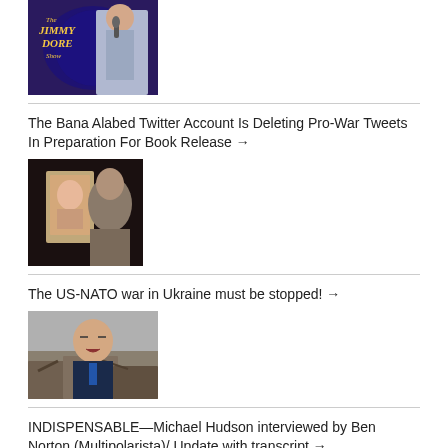[Figure (photo): Jimmy Dore Show thumbnail with man at microphone]
The Bana Alabed Twitter Account Is Deleting Pro-War Tweets In Preparation For Book Release →
[Figure (photo): Dark image of a child holding a photo]
The US-NATO war in Ukraine must be stopped! →
[Figure (photo): Joe Biden in front of rubble]
INDISPENSABLE—Michael Hudson interviewed by Ben Norton (Multipolarista)/ Update with transcript →
[Figure (photo): Inflation video thumbnail showing text INFLATION]